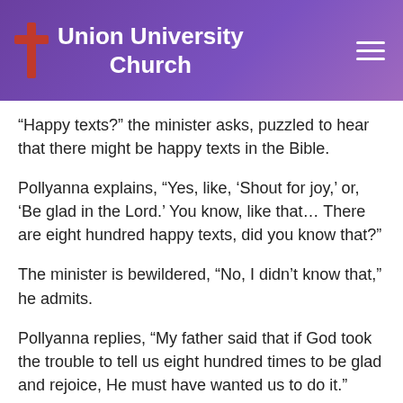Union University Church
“Happy texts?” the minister asks, puzzled to hear that there might be happy texts in the Bible.
Pollyanna explains, “Yes, like, ‘Shout for joy,’ or, ‘Be glad in the Lord.’ You know, like that… There are eight hundred happy texts, did you know that?”
The minister is bewildered, “No, I didn’t know that,” he admits.
Pollyanna replies, “My father said that if God took the trouble to tell us eight hundred times to be glad and rejoice, He must have wanted us to do it.”
To prove Pollyanna’s point, all we need to do is look at the Psalms.  There are 150 psalms and almost every one of